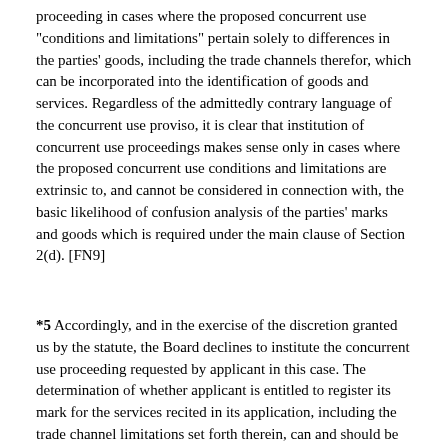proceeding in cases where the proposed concurrent use "conditions and limitations" pertain solely to differences in the parties' goods, including the trade channels therefor, which can be incorporated into the identification of goods and services. Regardless of the admittedly contrary language of the concurrent use proviso, it is clear that institution of concurrent use proceedings makes sense only in cases where the proposed concurrent use conditions and limitations are extrinsic to, and cannot be considered in connection with, the basic likelihood of confusion analysis of the parties' marks and goods which is required under the main clause of Section 2(d). [FN9]
*5 Accordingly, and in the exercise of the discretion granted us by the statute, the Board declines to institute the concurrent use proceeding requested by applicant in this case. The determination of whether applicant is entitled to register its mark for the services recited in its application, including the trade channel limitations set forth therein, can and should be made in the context of the Office's normal ex parte and inter partes proceedings, under the basic likelihood of confusion analysis set forth in the main clause of Section